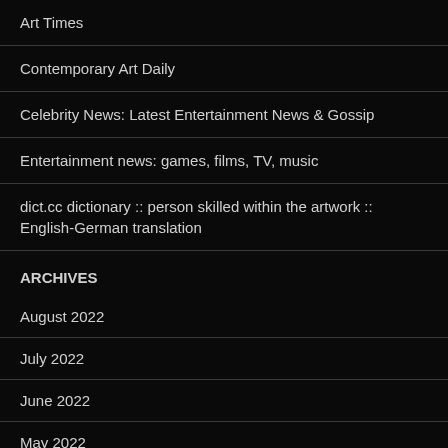Art Times
Contemporary Art Daily
Celebrity News: Latest Entertainment News & Gossip
Entertainment news: games, films, TV, music
dict.cc dictionary :: person skilled within the artwork :: English-German translation
ARCHIVES
August 2022
July 2022
June 2022
May 2022